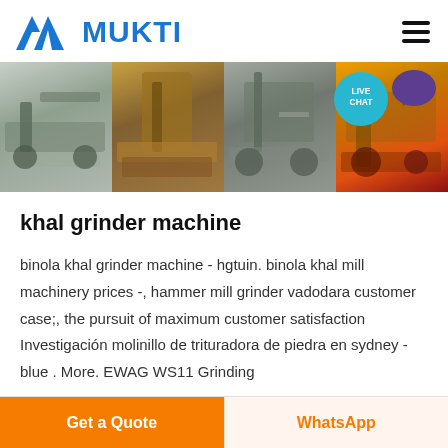MUKTI
[Figure (photo): Banner showing multiple industrial mining/crushing machine installations at a quarry or construction site, with conveyor belts, crushers, and heavy machinery. Four panels side by side.]
khal grinder machine
binola khal grinder machine - hgtuin. binola khal mill machinery prices -, hammer mill grinder vadodara customer case;, the pursuit of maximum customer satisfaction Investigación molinillo de trituradora de piedra en sydney - blue . More. EWAG WS11 Grinding